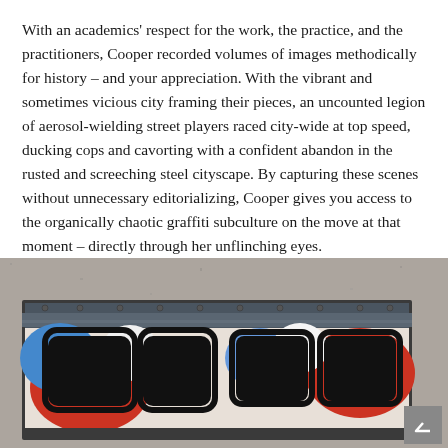With an academics' respect for the work, the practice, and the practitioners, Cooper recorded volumes of images methodically for history – and your appreciation. With the vibrant and sometimes vicious city framing their pieces, an uncounted legion of aerosol-wielding street players raced city-wide at top speed, ducking cops and cavorting with a confident abandon in the rusted and screeching steel cityscape. By capturing these scenes without unnecessary editorializing, Cooper gives you access to the organically chaotic graffiti subculture on the move at that moment – directly through her unflinching eyes.
[Figure (photo): Photograph showing the side of a subway train car with colorful graffiti art — red, blue, white shapes with black outlines — visible through the windows framed by a metal panel with rivets, against a concrete background.]